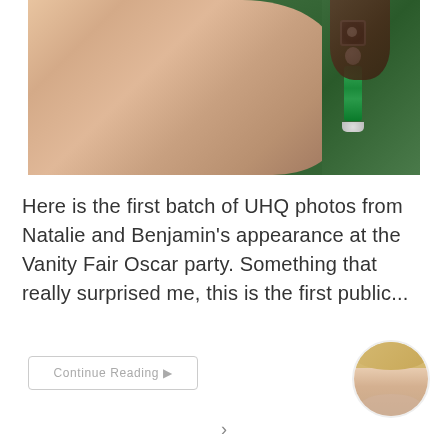[Figure (photo): Close-up side profile of a woman wearing dangling emerald green and black earrings with a pearl element, set against a green blurred background]
Here is the first batch of UHQ photos from Natalie and Benjamin's appearance at the Vanity Fair Oscar party. Something that really surprised me, this is the first public...
[Figure (photo): Small circular avatar photo of a blonde woman smiling, wearing a floral top]